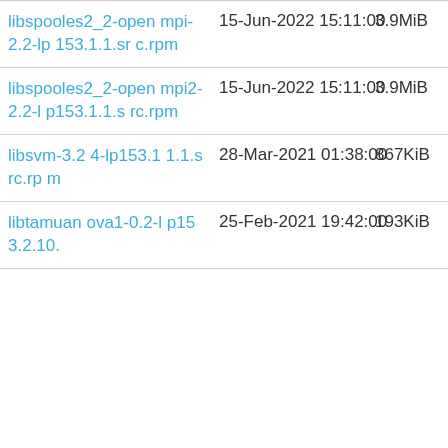| libspooles2_2-openmpi-2.2-lp153.1.1.src.rpm | 15-Jun-2022 15:11:00 | 3.9MiB | Details |
| libspooles2_2-openmpi2-2.2-lp153.1.1.src.rpm | 15-Jun-2022 15:11:00 | 3.9MiB | Details |
| libsvm-3.24-lp153.1.1.src.rpm | 28-Mar-2021 01:38:00 | 867KiB | Details |
| libtamuanova1-0.2-lp153.2.10. | 25-Feb-2021 19:42:00 | 193KiB | Details |